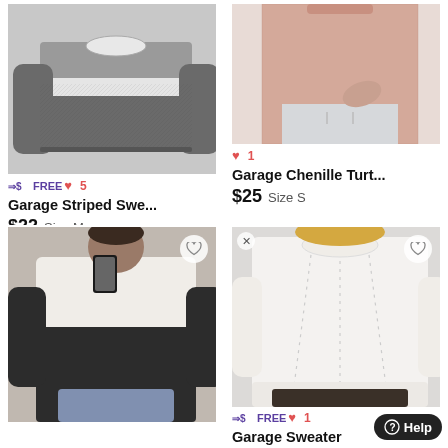[Figure (photo): Gray and white striped sweater displayed on a hanger in a mirror selfie setting]
=⊕ FREE ♥ 5
Garage Striped Swe...
$22  Size M
[Figure (photo): Pink chenille turtleneck sweater on a model, cropped view]
♥ 1
Garage Chenille Turt...
$25  Size S
[Figure (photo): Black and white color block sweater, mirror selfie by a woman]
[Figure (photo): White knit sweater with dotted detail on a model]
=⊕ FREE ♥ 1
Garage Sweater